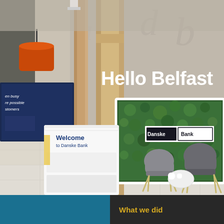[Figure (photo): Interior photograph of a Danske Bank branch in Belfast. Shows a modern bank interior with wooden pillars, an orange pendant lamp, a white reception/welcome desk with 'Welcome to Danske Bank' text, a green living plant wall with the Danske Bank logo, modern grey chairs and a small white table, a TV screen partially visible on the left, and large text 'Hello Belfast' on the concrete wall. The branch has a bright, contemporary design with light wood and pale stone flooring.]
What we did